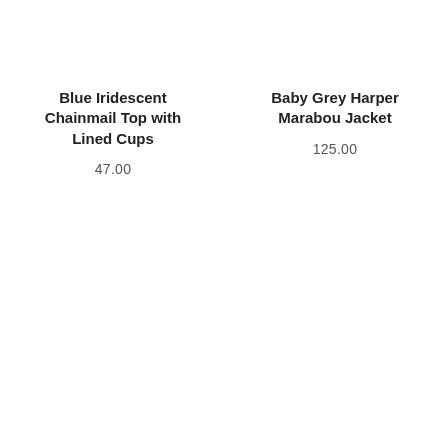Blue Iridescent Chainmail Top with Lined Cups
47.00
Baby Grey Harper Marabou Jacket
125.00